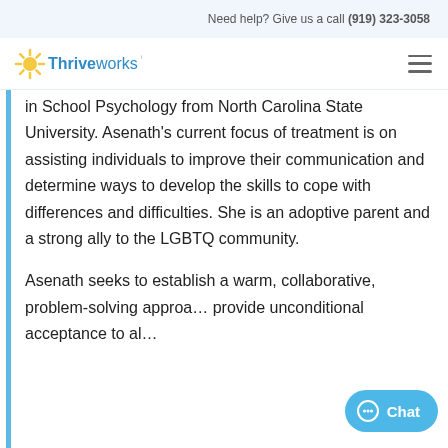Need help? Give us a call (919) 323-3058
[Figure (logo): Thriveworks logo with sunburst icon and company name]
in School Psychology from North Carolina State University. Asenath’s current focus of treatment is on assisting individuals to improve their communication and determine ways to develop the skills to cope with differences and difficulties. She is an adoptive parent and a strong ally to the LGBTQ community.
Asenath seeks to establish a warm, collaborative, problem-solving approa... provide unconditional acceptance to al...